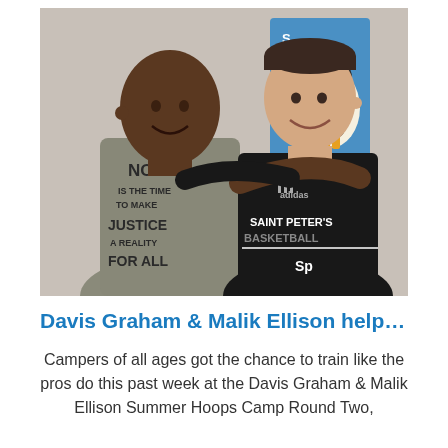[Figure (photo): Two men posing together smiling. The man on the left is taller, wearing a grey t-shirt that reads 'NOW IS THE TIME TO MAKE JUSTICE A REALITY FOR ALL'. The man on the right is wearing a black Adidas Saint Peter's Basketball jersey. Behind them is a colorful banner/sign.]
Davis Graham & Malik Ellison help N.J...
Campers of all ages got the chance to train like the pros do this past week at the Davis Graham & Malik Ellison Summer Hoops Camp Round Two,